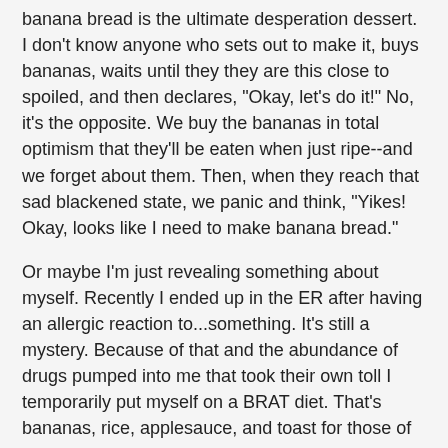banana bread is the ultimate desperation dessert. I don't know anyone who sets out to make it, buys bananas, waits until they they are this close to spoiled, and then declares, "Okay, let's do it!" No, it's the opposite. We buy the bananas in total optimism that they'll be eaten when just ripe--and we forget about them. Then, when they reach that sad blackened state, we panic and think, "Yikes! Okay, looks like I need to make banana bread."
Or maybe I'm just revealing something about myself. Recently I ended up in the ER after having an allergic reaction to...something. It's still a mystery. Because of that and the abundance of drugs pumped into me that took their own toll I temporarily put myself on a BRAT diet. That's bananas, rice, applesauce, and toast for those of you who have been lucky enough to escape various stomach issues. After almost a week with no allergic eruptions, I started moving on and forgot about the bananas as I ventured back to tangerines and apples and newly ripened oranges on my tree. The bananas languished until, yes, I realized, "Yikes! Okay, looks like I need to make banana bread."